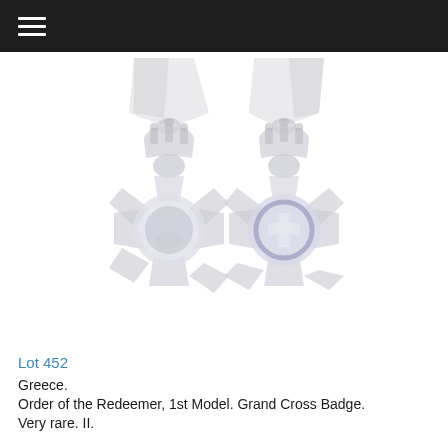☰
[Figure (photo): Two Greek Order of the Redeemer 1st Model Grand Cross Badges shown side by side — obverse and reverse views. Both medals are cross-shaped with a crown on top and a circular central medallion. The left shows a portrait figure, the right shows a blue cross on white enamel. Colors are faded/light bluish-white.]
Lot 452
Greece.
Order of the Redeemer, 1st Model. Grand Cross Badge.
Very rare. II.